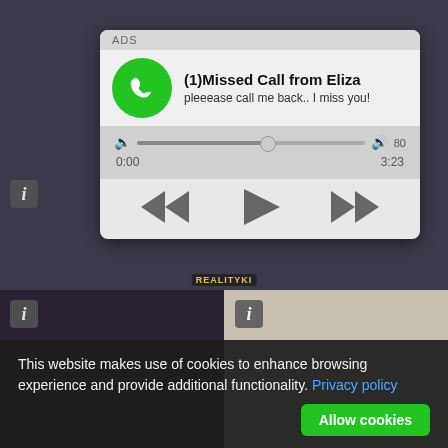[Figure (screenshot): Background grid of video thumbnails with info icons and REALITYKI watermark]
[Figure (screenshot): Ad notification card showing missed call from Eliza with audio player controls. ADS label at top. Green phone icon. Title: (1)Missed Call from Eliza. Subtitle: pleeease call me back.. I miss you! Audio progress bar with time 0:00 and 3:23. Rewind, play, fast-forward controls.]
This website makes use of cookies to enhance browsing experience and provide additional functionality. Privacy policy
Allow cookies